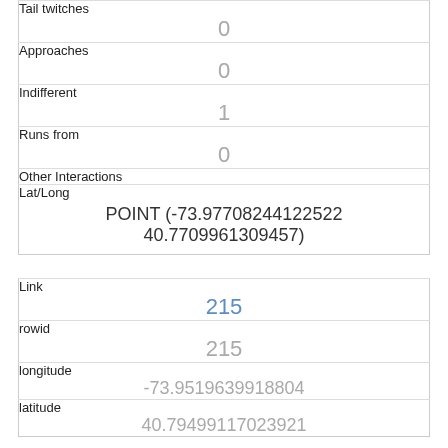| Tail twitches | 0 |
| Approaches | 0 |
| Indifferent | 1 |
| Runs from | 0 |
| Other Interactions |  |
| Lat/Long | POINT (-73.97708244122522 40.7709961309457) |
| Link | 215 |
| rowid | 215 |
| longitude | -73.9519639918804 |
| latitude | 40.79499117023921 |